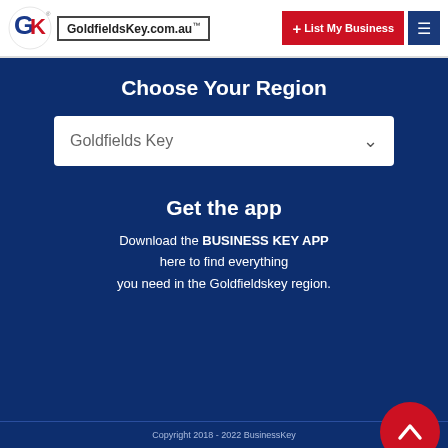GoldfieldsKey.com.au — List My Business
Choose Your Region
Goldfields Key [dropdown]
Get the app
Download the BUSINESS KEY APP here to find everything you need in the Goldfieldskey region.
Copyright 2018 - 2022 BusinessKey